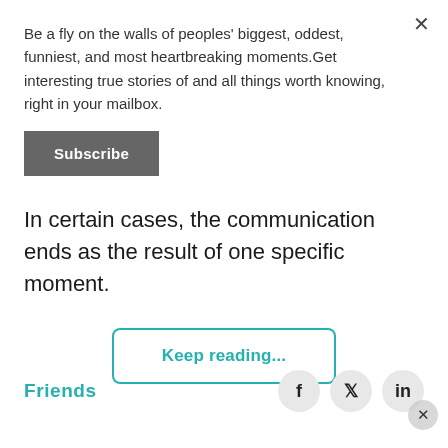Be a fly on the walls of peoples' biggest, oddest, funniest, and most heartbreaking moments.Get interesting true stories of and all things worth knowing, right in your mailbox.
Subscribe
In certain cases, the communication ends as the result of one specific moment.
Keep reading...
Friends